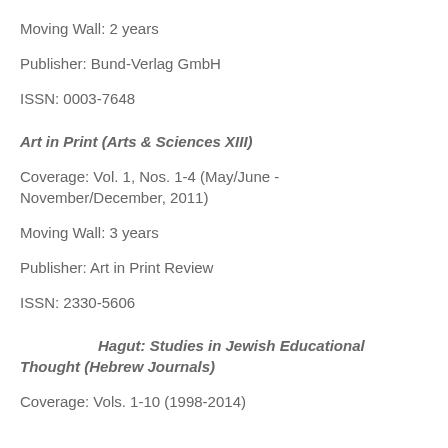Moving Wall: 2 years
Publisher: Bund-Verlag GmbH
ISSN: 0003-7648
Art in Print (Arts & Sciences XIII)
Coverage: Vol. 1, Nos. 1-4 (May/June - November/December, 2011)
Moving Wall: 3 years
Publisher: Art in Print Review
ISSN: 2330-5606
Hagut: Studies in Jewish Educational Thought (Hebrew Journals)
Coverage: Vols. 1-10 (1998-2014)